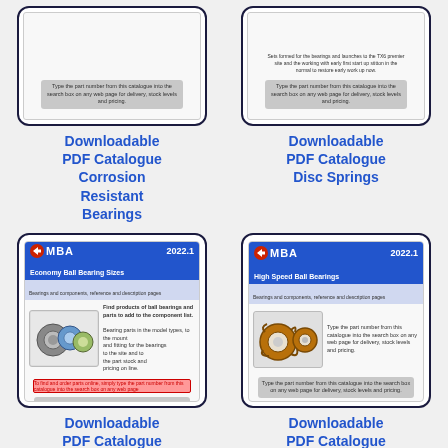[Figure (illustration): Downloadable PDF Catalogue card for Corrosion Resistant Bearings showing MBA catalogue cover (cropped top) with grey search box]
Downloadable PDF Catalogue Corrosion Resistant Bearings
[Figure (illustration): Downloadable PDF Catalogue card for Disc Springs showing MBA catalogue cover (cropped top) with grey search box]
Downloadable PDF Catalogue Disc Springs
[Figure (illustration): Downloadable PDF Catalogue card for Economy Ball Bearing Sizes showing MBA 2022.1 catalogue with ball bearing images and grey search box]
Downloadable PDF Catalogue Economy
[Figure (illustration): Downloadable PDF Catalogue card for High Speed Ball Bearings showing MBA 2022.1 catalogue with high speed bearing images and grey search box]
Downloadable PDF Catalogue High Speed